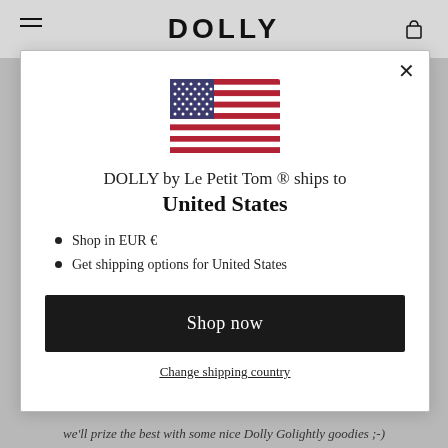DOLLY
[Figure (illustration): US flag icon]
DOLLY by Le Petit Tom ® ships to
United States
Shop in EUR €
Get shipping options for United States
Shop now
Change shipping country
we'll prize the best with some nice Dolly Golightly goodies ;-)